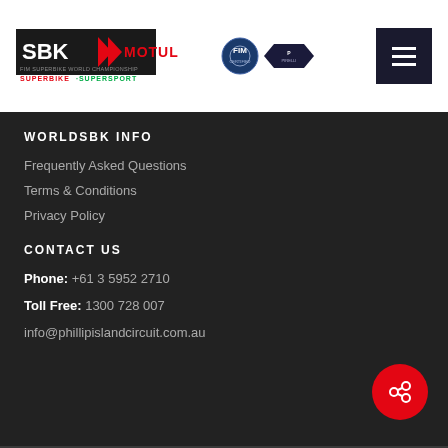[Figure (logo): SBK Motul FIM Superbike World Championship logo with FIM and Pirelli logos]
[Figure (other): Hamburger menu button (dark square with three white lines)]
WORLDSBK INFO
Frequently Asked Questions
Terms & Conditions
Privacy Policy
CONTACT US
Phone: +61 3 5952 2710
Toll Free: 1300 728 007
info@phillipislandcircuit.com.au
[Figure (other): Red circular share button with share icon]